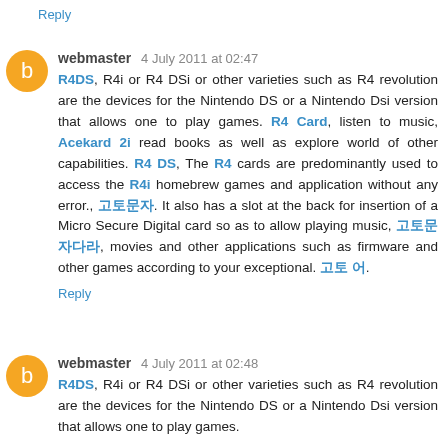Reply
webmaster 4 July 2011 at 02:47
R4DS, R4i or R4 DSi or other varieties such as R4 revolution are the devices for the Nintendo DS or a Nintendo Dsi version that allows one to play games. R4 Card, listen to music, Acekard 2i read books as well as explore world of other capabilities. R4 DS, The R4 cards are predominantly used to access the R4i homebrew games and application without any error., 한국어. It also has a slot at the back for insertion of a Micro Secure Digital card so as to allow playing music, 한국어다, movies and other applications such as firmware and other games according to your exceptional. 한국 어.
Reply
webmaster 4 July 2011 at 02:48
R4DS, R4i or R4 DSi or other varieties such as R4 revolution are the devices for the Nintendo DS or a Nintendo Dsi version that allows one to play games.